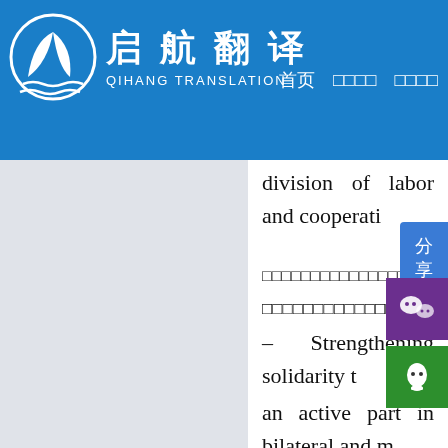[Figure (logo): Qihang Translation logo with Chinese characters 启航翻译 and navigation menu on blue header bar]
division of labor and cooperati...
——□□□□□□□□□□□□□□□□□□□□□□□□□□□□
□□□□□□□□□□□□□□□□□□□□□□□□□□□□□□□□□
– Strengthening solidarity t... an active part in bilateral and m... work to improve global gove... international system with the ... organizations, helping t... food security threats, an... other countries and in...